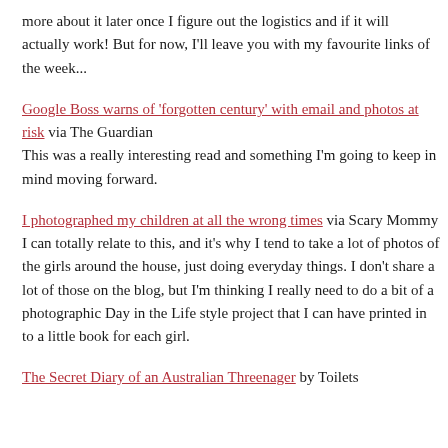more about it later once I figure out the logistics and if it will actually work! But for now, I'll leave you with my favourite links of the week...
Google Boss warns of 'forgotten century' with email and photos at risk via The Guardian
This was a really interesting read and something I'm going to keep in mind moving forward.
I photographed my children at all the wrong times via Scary Mommy
I can totally relate to this, and it's why I tend to take a lot of photos of the girls around the house, just doing everyday things. I don't share a lot of those on the blog, but I'm thinking I really need to do a bit of a photographic Day in the Life style project that I can have printed in to a little book for each girl.
The Secret Diary of an Australian Threenager by Toilets